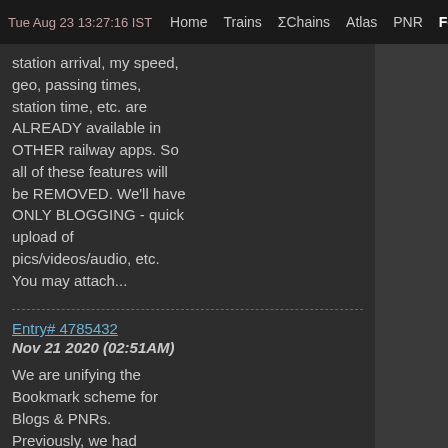Tue Aug 23 13:27:16 IST  Home  Trains  ΣChains  Atlas  PNR  Forum  Quiz R
...station arrival, my speed, geo, passing times, station time, etc. are ALREADY available in OTHER railway apps. So all of these features will be REMOVED. We'll have ONLY BLOGGING - quick upload of pics/videos/audio, etc. You may attach...
Entry# 4785432
Nov 21 2020 (02:51AM)
We are unifying the Bookmark scheme for Blogs & PNRs. Previously, we had different systems of "Followed Blogs", "PNR History", "My PNR Posts", "My PNR Post Predictions", "Stamp Alerts", etc. which were somewhat confusing. Hereafter: For PNRs: 1. You may add ANY PNR...